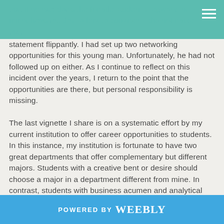that if he had done the female student's legwork, he might have multiple offers to consider. I did not make that statement flippantly.
statement flippantly. I had set up two networking opportunities for this young man. Unfortunately, he had not followed up on either. As I continue to reflect on this incident over the years, I return to the point that the opportunities are there, but personal responsibility is missing.

The last vignette I share is on a systematic effort by my current institution to offer career opportunities to students. In this instance, my institution is fortunate to have two great departments that offer complementary but different majors. Students with a creative bent or desire should choose a major in a department different from mine. In contrast, students with business acumen and analytical outlooks should choose a major in my current department. As we tell students, you can achieve career aspirations with many different majors. However, in today's employment environment, employers seek specific skill sets. Therefore, it is easier if you are in the major
POWERED BY weebly